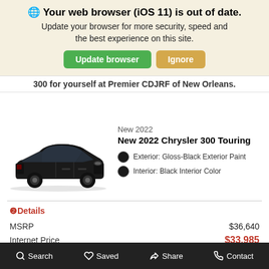🌐 Your web browser (iOS 11) is out of date. Update your browser for more security, speed and the best experience on this site.
[Figure (screenshot): Two buttons: green 'Update browser' and tan/gold 'Ignore']
300 for yourself at Premier CDJRF of New Orleans.
[Figure (photo): Black Chrysler 300 sedan car photo]
New 2022
New 2022 Chrysler 300 Touring
Exterior: Gloss-Black Exterior Paint
Interior: Black Interior Color
❷Details
|  |  |
| --- | --- |
| MSRP | $36,640 |
| Internet Price | $33,985 |
Search   Saved   Share   Contact